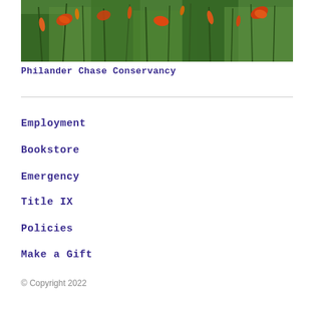[Figure (photo): Outdoor photo of orange day lilies and tall green grassy plants in a garden or conservancy setting]
Philander Chase Conservancy
Employment
Bookstore
Emergency
Title IX
Policies
Make a Gift
© Copyright 2022